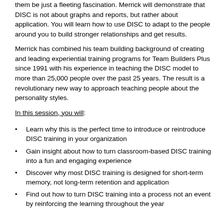them be just a fleeting fascination. Merrick will demonstrate that DISC is not about graphs and reports, but rather about application. You will learn how to use DISC to adapt to the people around you to build stronger relationships and get results.
Merrick has combined his team building background of creating and leading experiential training programs for Team Builders Plus since 1991 with his experience in teaching the DISC model to more than 25,000 people over the past 25 years. The result is a revolutionary new way to approach teaching people about the personality styles.
In this session, you will:
Learn why this is the perfect time to introduce or reintroduce DISC training in your organization
Gain insight about how to turn classroom-based DISC training into a fun and engaging experience
Discover why most DISC training is designed for short-term memory, not long-term retention and application
Find out how to turn DISC training into a process not an event by reinforcing the learning throughout the year